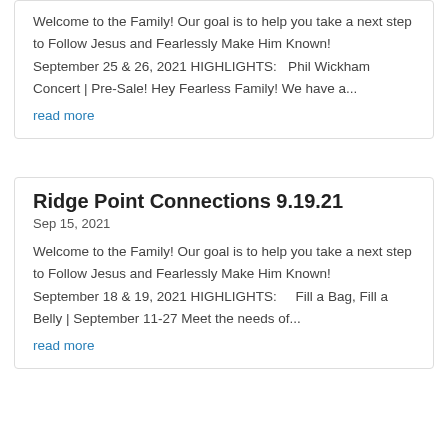Welcome to the Family! Our goal is to help you take a next step to Follow Jesus and Fearlessly Make Him Known!  September 25 & 26, 2021 HIGHLIGHTS:   Phil Wickham Concert | Pre-Sale! Hey Fearless Family! We have a...
read more
Ridge Point Connections 9.19.21
Sep 15, 2021
Welcome to the Family! Our goal is to help you take a next step to Follow Jesus and Fearlessly Make Him Known!  September 18 & 19, 2021 HIGHLIGHTS:    Fill a Bag, Fill a Belly | September 11-27 Meet the needs of...
read more